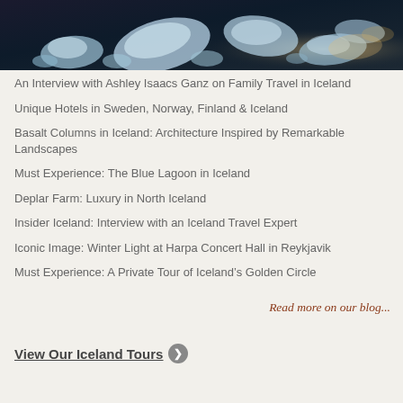[Figure (photo): Close-up photograph of ice chunks on a dark surface, possibly a black sand beach in Iceland, with warm golden light on some ice fragments]
An Interview with Ashley Isaacs Ganz on Family Travel in Iceland
Unique Hotels in Sweden, Norway, Finland & Iceland
Basalt Columns in Iceland: Architecture Inspired by Remarkable Landscapes
Must Experience: The Blue Lagoon in Iceland
Deplar Farm: Luxury in North Iceland
Insider Iceland: Interview with an Iceland Travel Expert
Iconic Image: Winter Light at Harpa Concert Hall in Reykjavik
Must Experience: A Private Tour of Iceland's Golden Circle
Read more on our blog...
View Our Iceland Tours ❯